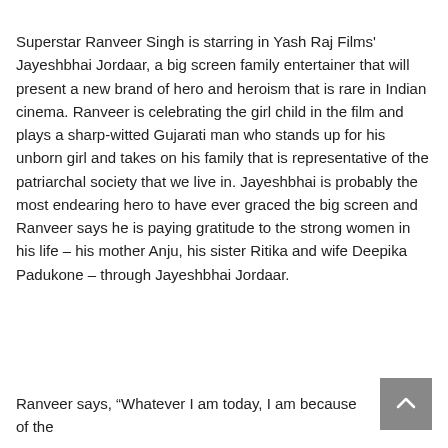Superstar Ranveer Singh is starring in Yash Raj Films' Jayeshbhai Jordaar, a big screen family entertainer that will present a new brand of hero and heroism that is rare in Indian cinema. Ranveer is celebrating the girl child in the film and plays a sharp-witted Gujarati man who stands up for his unborn girl and takes on his family that is representative of the patriarchal society that we live in. Jayeshbhai is probably the most endearing hero to have ever graced the big screen and Ranveer says he is paying gratitude to the strong women in his life – his mother Anju, his sister Ritika and wife Deepika Padukone – through Jayeshbhai Jordaar.
Ranveer says, “Whatever I am today, I am because of the